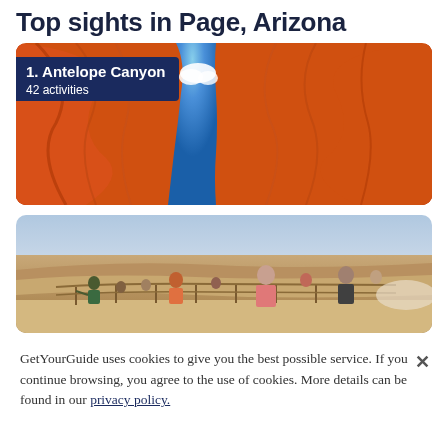Top sights in Page, Arizona
[Figure (photo): Photo of Antelope Canyon showing narrow red sandstone slot canyon walls with blue sky visible through a gap, with overlay label '1. Antelope Canyon' and '42 activities']
[Figure (photo): Photo of a scenic viewpoint with many tourists standing at a railing overlooking a canyon landscape]
GetYourGuide uses cookies to give you the best possible service. If you continue browsing, you agree to the use of cookies. More details can be found in our privacy policy.